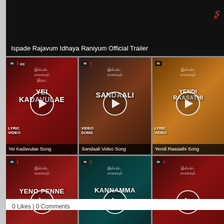[Figure (screenshot): Ispade Rajavum Idhaya Raniyum Official Trailer video thumbnail with black background]
Ispade Rajavum Idhaya Raniyum Official Trailer
[Figure (screenshot): Yei Kadavulae Song lyric video thumbnail]
Yei Kadavulae Song
[Figure (screenshot): Sandaali Video Song thumbnail]
Sandaali Video Song
[Figure (screenshot): Yendi Raasathi Lyric Video Song thumbnail]
Yendi Raasathi Song
[Figure (screenshot): Yeno Penne Song lyric video thumbnail]
Yeno Penne Song
[Figure (screenshot): Kannamma Song Lyrical Video Ft. Anirudh thumbnail]
Kannamma Song Lyrical Video Ft. Anirudh
[Figure (screenshot): A Glimpse of Kannamma Song Ft. Anirudh thumbnail]
A Glimpse of Kannamma Song Ft. Anirudh
0 Likes | 0 Comments